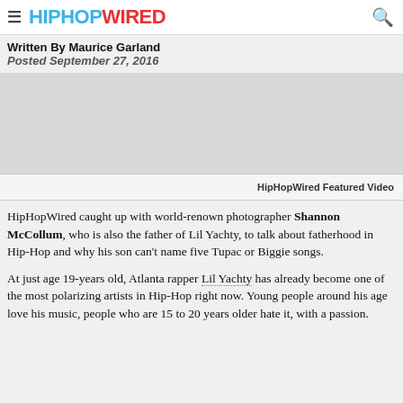HIPHOPWIRED
Written By Maurice Garland
Posted September 27, 2016
[Figure (other): Advertisement placeholder area (gray box)]
HipHopWired Featured Video
HipHopWired caught up with world-renown photographer Shannon McCollum, who is also the father of Lil Yachty, to talk about fatherhood in Hip-Hop and why his son can't name five Tupac or Biggie songs.
At just age 19-years old, Atlanta rapper Lil Yachty has already become one of the most polarizing artists in Hip-Hop right now. Young people around his age love his music, people who are 15 to 20 years older hate it, with a passion.